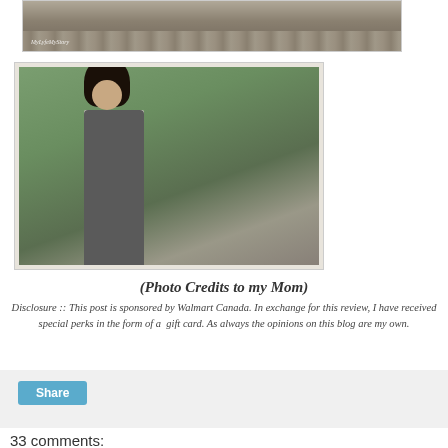[Figure (photo): Partial top photo showing rocks and outdoor scene with MyLyfeMyStory watermark]
[Figure (photo): Woman in grey maxi dress standing outdoors among rocks and trees]
(Photo Credits to my Mom)
Disclosure :: This post is sponsored by Walmart Canada. In exchange for this review, I have received special perks in the form of a gift card. As always the opinions on this blog are my own.
Share
33 comments: